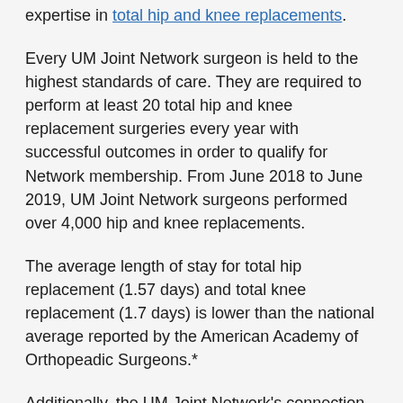expertise in total hip and knee replacements.
Every UM Joint Network surgeon is held to the highest standards of care. They are required to perform at least 20 total hip and knee replacement surgeries every year with successful outcomes in order to qualify for Network membership. From June 2018 to June 2019, UM Joint Network surgeons performed over 4,000 hip and knee replacements.
The average length of stay for total hip replacement (1.57 days) and total knee replacement (1.7 days) is lower than the national average reported by the American Academy of Orthopeadic Surgeons.*
Additionally, the UM Joint Network's connection to the renowned University of Maryland School of Medicine ensures that you will always receive the